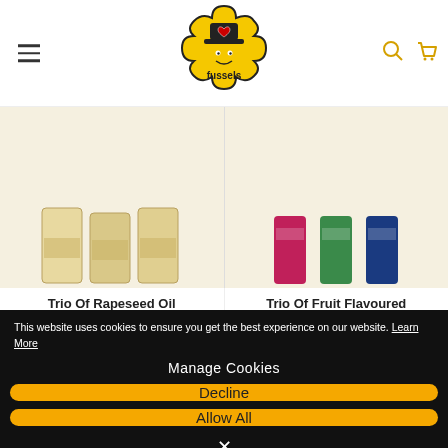[Figure (logo): Fussels brand logo - yellow puzzle piece shape with a face and UK flag heart, text 'fussels' in black]
[Figure (photo): Trio of Rapeseed Oil Mayonnaises product image - cream/beige colored jars]
[Figure (photo): Trio of Fruit Flavoured Vinaigrettes product image - pink, green, and blue bottles]
Trio Of Rapeseed Oil Mayonnaises
★★★★★ 4 reviews
Trio Of Fruit Flavoured Vinaigrettes
★★★★☆ 6 reviews
This website uses cookies to ensure you get the best experience on our website. Learn More
Manage Cookies
Decline
Allow All